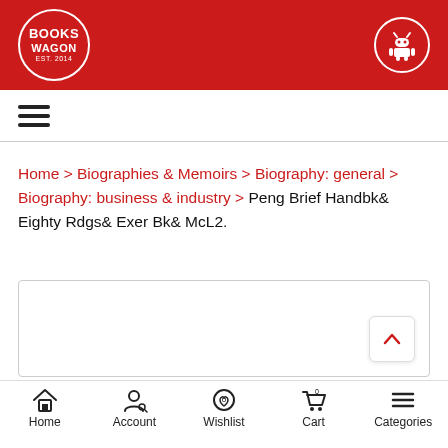[Figure (logo): BooksWagon logo in white circle on red header background]
[Figure (logo): Android robot icon in white circle on red header background, top right]
[Figure (other): Hamburger menu icon (three horizontal lines)]
Home > Biographies & Memoirs > Biography: general > Biography: business & industry > Peng Brief Handbk& Eighty Rdgs& Exer Bk& McL2.
[Figure (other): Empty white product image box with light border]
Home | Account | Wishlist (0) | Cart (0) | Categories